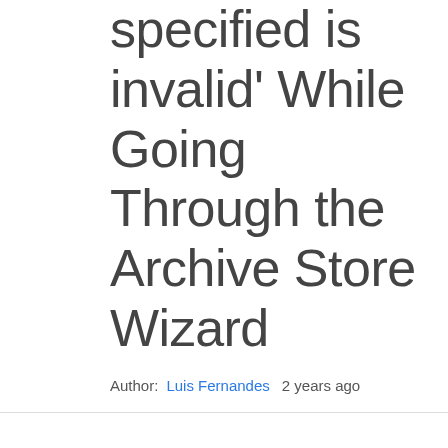specified is invalid' While Going Through the Archive Store Wizard
Author: Luis Fernandes   2 years ago
Overview
This article describes the error and